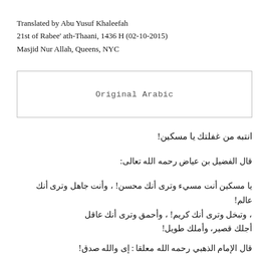Translated by Abu Yusuf Khaleefah
21st of Rabee' ath-Thaani, 1436 H (02-10-2015)
Masjid Nur Allah, Queens, NYC
[Figure (other): Box labeled 'Original Arabic' in monospace font, with a rectangular border]
انتبه من غفلتك يا مسكين!
قال الفضيل بن عياض رحمه الله تعالى:
يا مسكين أنت مسيء وترى أنك محسن! ، وأنت جاهل وترى أنك عالم! ، وتبخل وترى أنك كريم! ، وأحمق وترى أنك عاقل أجلك قصير، وأملك طويل!
قال الإمام الذهبي رحمه الله معلقا : إى والله صدق!